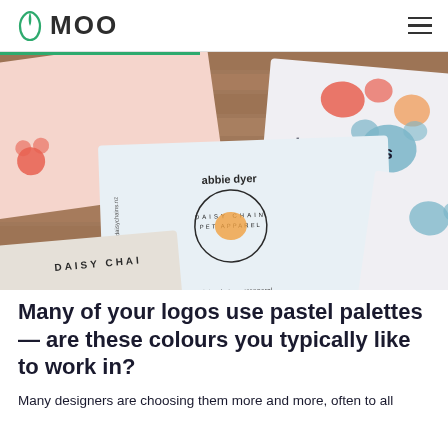MOO
[Figure (photo): Business cards for 'Daisy Chains Pet Apparel' spread out on a wooden surface. Cards feature colorful paw prints, floral designs, and pastel colors. One card reads 'abbie dyer' with the Daisy Chains logo, another shows 'daisy chains PET APPAREL' with paw print illustrations in blue, coral, and orange.]
Many of your logos use pastel palettes — are these colours you typically like to work in?
Many designers are choosing them more and more, often to all